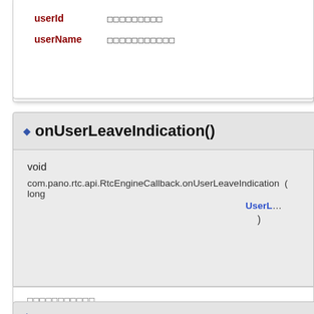userId  □□□□□□□□□
userName  □□□□□□□□□□□
◆ onUserLeaveIndication()
void
com.pano.rtc.api.RtcEngineCallback.onUserLeaveIndication ( long
UserL…
)
□□□□□□□□□□□
□□
userId  □□□□□□□□□
reason  □□□□□□□
◆ …